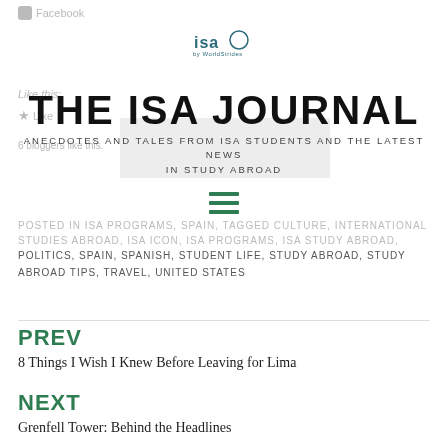Facebook
THE ISA JOURNAL
ANECDOTES AND TALES FROM ISA STUDENTS AND THE LATEST NEWS IN STUDY ABROAD
POSTED IN ISA PROGRAMS, SPAIN, TAGGED CULTURE, INTERNATIONAL STUDIES ABROAD, ISA, ISA ICON, ISA PROGRAMS, ISA STUDY ABROAD, POLITICS, SPAIN, SPANISH, STUDENT LIFE, STUDY ABROAD, STUDY ABROAD TIPS, TRAVEL, UNITED STATES
PREV
8 Things I Wish I Knew Before Leaving for Lima
NEXT
Grenfell Tower: Behind the Headlines